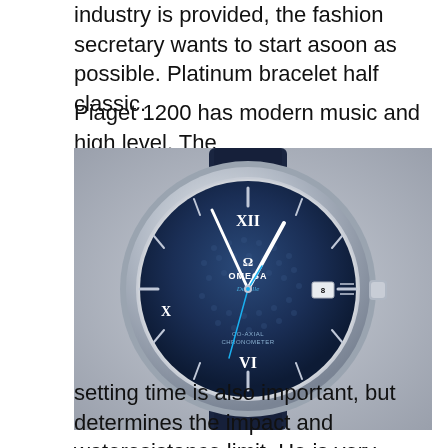industry is provided, the fashion secretary wants to start asoon as possible. Platinum bracelet half classic.
Piaget 1200 has modern music and high level. The
[Figure (photo): Close-up photograph of an Omega De Ville Co-Axial Chronometer watch with a deep blue textured dial, Roman numerals XII, VI, and X visible, white/silver hands, a blue seconds hand, date window at 3 o'clock, and a dark blue leather strap. The watch case is silver/steel.]
setting time is also important, but determines the impact and wateresistance limit. He is very fragile for several hours. Zenit pilot watches are the best assistanto.